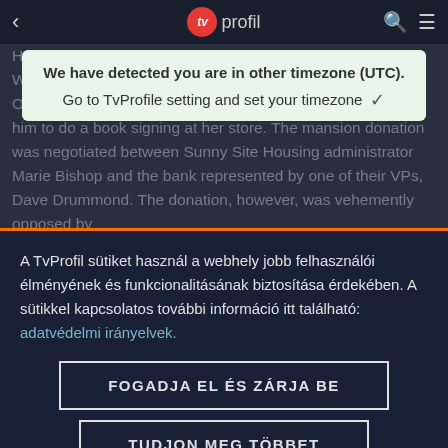[Figure (screenshot): TvProfil website header with back arrow, red TV logo circle with 'tv' text, 'profil' text, search icon, and hamburger menu icon on dark background]
We have detected you are in other timezone (UTC).
Go to TvProfile setting and set your timezone ✓
Hopkins was among the actors who appeared at the event. While boosting the renovation, Actor meets Whitney Sloane, Officer Tommy Sloane's bookstore owning sister who asks him to do a book signing at her store. The mansion donation was negotiated between Sunny Site Housing administrator Marie Bishop and the bank represented by one of their VPs, Dave Drummond. The donation, however, was vehemently opposed by
A TvProfil sütiket használ a webhely jobb felhasználói élményének és funkcionalitásának biztosítása érdekében. A sütikkel kapcsolatos további információ itt található: adatvédelmi irányelvek.
FOGADJA EL ÉS ZÁRJA BE
TUDJON MEG TÖBBET